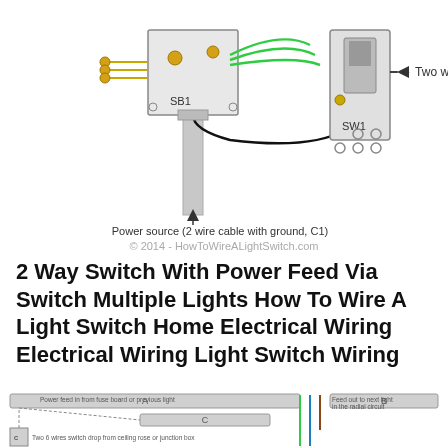[Figure (schematic): Wiring schematic showing a two-way switch (SW1) connected to a junction box (SB1) with green (earth/ground) wires, black (live) wire, and connection to power source (2 wire cable with ground, C1). Labels: SB1, SW1, Two way switch, Power source (2 wire cable with ground, C1).]
© 2014 - HowToWireALightSwitch.com
2 Way Switch With Power Feed Via Switch Multiple Lights How To Wire A Light Switch Home Electrical Wiring Electrical Wiring Light Switch Wiring
[Figure (schematic): Second wiring schematic showing cable runs A, B, and C with colored wires (green, blue, brown) indicating a 2-way switch circuit with power feed. Labels: A, B, C with annotations about power feed, feed out to next light, and switch drop from ceiling rose or junction box.]